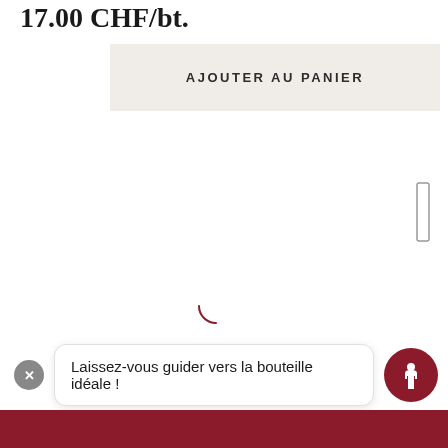17.00 CHF/bt.
AJOUTER AU PANIER
[Figure (screenshot): Scrollbar track indicator on right side of page]
[Figure (other): Loading spinner arc in dark rose/maroon color]
Laissez-vous guider vers la bouteille idéale !